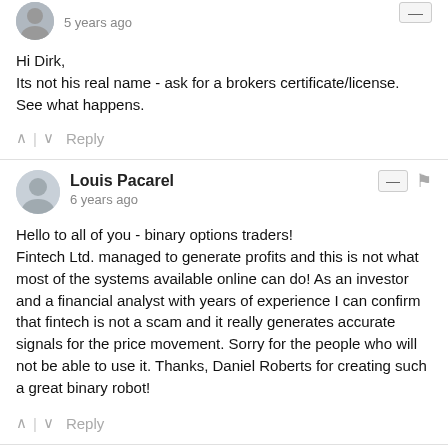5 years ago
Hi Dirk,
Its not his real name - ask for a brokers certificate/license.
See what happens.
Reply
Louis Pacarel
6 years ago
Hello to all of you - binary options traders!
Fintech Ltd. managed to generate profits and this is not what most of the systems available online can do! As an investor and a financial analyst with years of experience I can confirm that fintech is not a scam and it really generates accurate signals for the price movement. Sorry for the people who will not be able to use it. Thanks, Daniel Roberts for creating such a great binary robot!
Reply
binaryscamalerts → Louis Pacarel
6 years ago
Hi Louis,
OK, for the sake of transparency and fairness we will approve